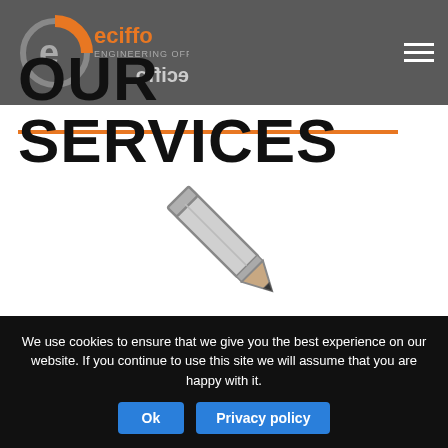eciffo - Our Services
OUR SERVICES
[Figure (illustration): A pencil/pen icon drawn in gray outline style, rotated diagonally]
OFFICE SUPPLIES - ONLINE STORE
Browse our vast range of office stationery and
We use cookies to ensure that we give you the best experience on our website. If you continue to use this site we will assume that you are happy with it.